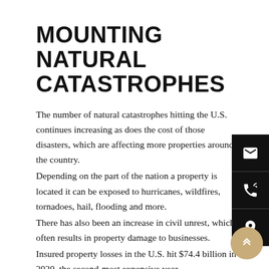MOUNTING NATURAL CATASTROPHES
The number of natural catastrophes hitting the U.S. continues increasing as does the cost of those disasters, which are affecting more properties around the country.
Depending on the part of the nation a property is located it can be exposed to hurricanes, wildfires, tornadoes, hail, flooding and more.
There has also been an increase in civil unrest, which often results in property damage to businesses.
Insured property losses in the U.S. hit $74.4 billion in 2020, the second-most expensive year